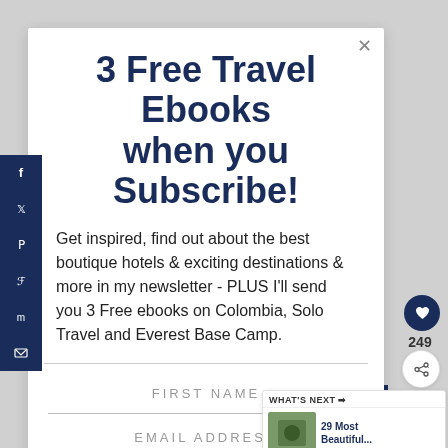3 Free Travel Ebooks when you Subscribe!
Get inspired, find out about the best boutique hotels & exciting destinations & more in my newsletter - PLUS I'll send you 3 Free ebooks on Colombia, Solo Travel and Everest Base Camp.
FIRST NAME
EMAIL ADDRESS
249
WHAT'S NEXT → 29 Most Beautiful...
#AloneTogether